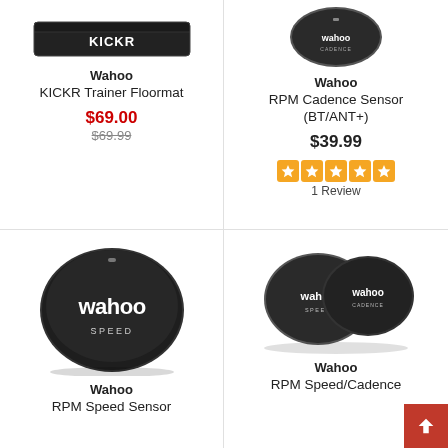[Figure (photo): Wahoo KICKR Trainer Floormat - black mat with KICKR logo]
Wahoo
KICKR Trainer Floormat
$69.00
$69.99
[Figure (photo): Wahoo RPM Cadence Sensor (BT/ANT+) - small circular black sensor]
Wahoo
RPM Cadence Sensor (BT/ANT+)
$39.99
[Figure (other): 5 orange star rating icons]
1 Review
[Figure (photo): Wahoo RPM Speed Sensor - large rounded oval black sensor with wahoo SPEED text]
Wahoo
RPM Speed Sensor
[Figure (photo): Wahoo RPM Speed/Cadence combo - two circular black sensors labeled wahoo SPEED and wahoo CADENCE]
Wahoo
RPM Speed/Cadence